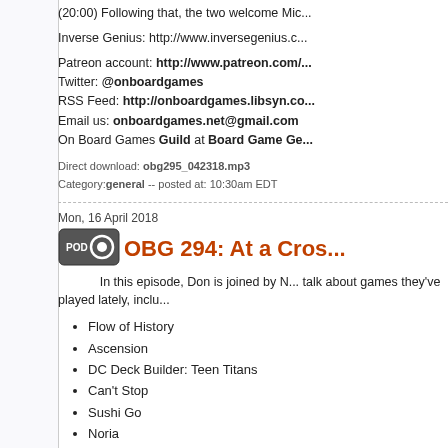(20:00) Following that, the two welcome Mic...
Inverse Genius: http://www.inversegenius.c...
Patreon account: http://www.patreon.com/...
Twitter: @onboardgames
RSS Feed: http://onboardgames.libsyn.co...
Email us: onboardgames.net@gmail.com
On Board Games Guild at Board Game Ge...
Direct download: obg295_042318.mp3
Category: general -- posted at: 10:30am EDT
Mon, 16 April 2018
OBG 294: At a Cros...
In this episode, Don is joined by N... talk about games they've played lately, inclu...
Flow of History
Ascension
DC Deck Builder: Teen Titans
Can't Stop
Sushi Go
Noria
Heroes of Land, Air, and Sea
Charterstone
[Figure (photo): Photo of a board game being played, showing game components on a table.]